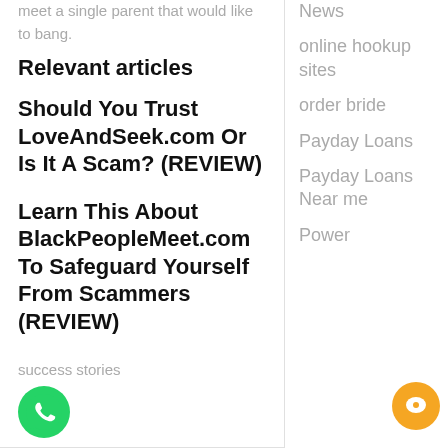meet a single parent that would like to bang.
Relevant articles
Should You Trust LoveAndSeek.com Or Is It A Scam? (REVIEW)
Learn This About BlackPeopleMeet.com To Safeguard Yourself From Scammers (REVIEW)
success stories
[Figure (logo): WhatsApp green logo icon]
News
online hookup sites
order bride
Payday Loans
Payday Loans Near me
Power
[Figure (other): Orange chat bubble icon]